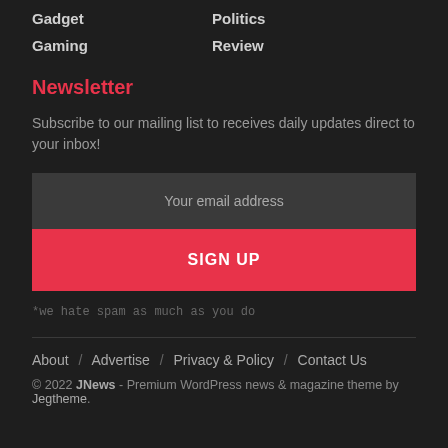Gadget
Politics
Gaming
Review
Newsletter
Subscribe to our mailing list to receives daily updates direct to your inbox!
Your email address
SIGN UP
*we hate spam as much as you do
About / Advertise / Privacy & Policy / Contact Us
© 2022 JNews - Premium WordPress news & magazine theme by Jegtheme.